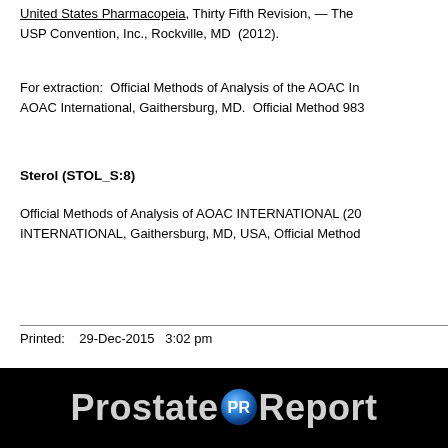United States Pharmacopeia, Thirty Fifth Revision, — The USP Convention, Inc., Rockville, MD  (2012).
For extraction:  Official Methods of Analysis of the AOAC International, AOAC International, Gaithersburg, MD.  Official Method 983.
Sterol (STOL_S:8)
Official Methods of Analysis of AOAC INTERNATIONAL (20...) AOAC INTERNATIONAL, Gaithersburg, MD, USA, Official Method
Printed:   29-Dec-2015   3:02 pm
[Figure (logo): ProstateReport logo — white bold text on black background with a blue PR badge emblem]